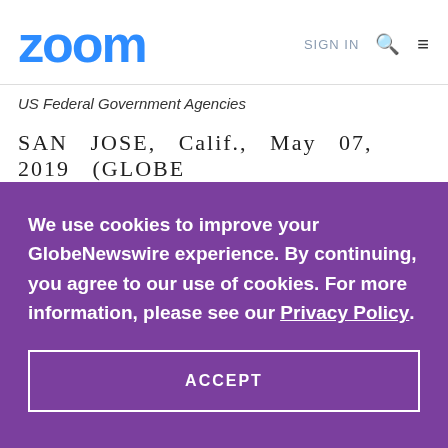zoom  SIGN IN
US Federal Government Agencies
SAN JOSE, Calif., May 07, 2019 (GLOBE
We use cookies to improve your GlobeNewswire experience. By continuing, you agree to our use of cookies. For more information, please see our Privacy Policy.
ACCEPT